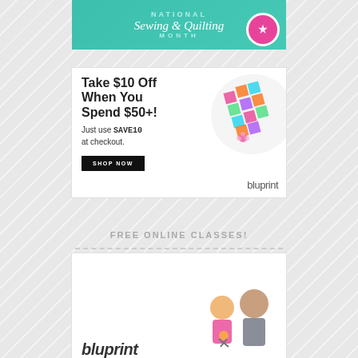[Figure (illustration): National Sewing & Quilting Month banner with teal background, decorative script text and circular badge logo]
[Figure (infographic): Bluprint ad: Take $10 Off When You Spend $50+! Just use SAVE10 at checkout. SHOP NOW button. Bluprint logo. Colorful patchwork pillow image on right.]
FREE ONLINE CLASSES!
[Figure (illustration): Bluprint logo banner with partial figures of people on right side]